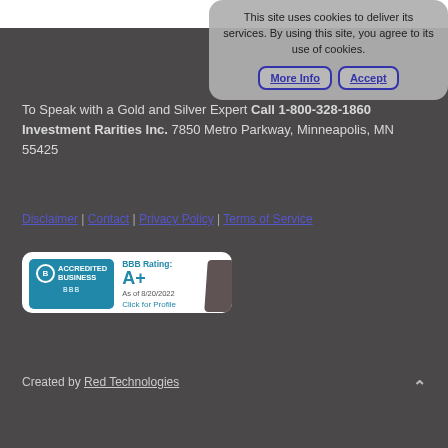This site uses cookies to deliver its services. By using this site, you agree to its use of cookies. More Info | Accept
To Speak with a Gold and Silver Expert Call 1-800-328-1860 Investment Rarities Inc. 7850 Metro Parkway, Minneapolis, MN 55425
Disclaimer | Contact | Privacy Policy | Terms of Service
[Figure (logo): BBB Accredited Business badge with rating A+ as of 8/20/2022 and Click for Profile text]
Created by Red Technologies